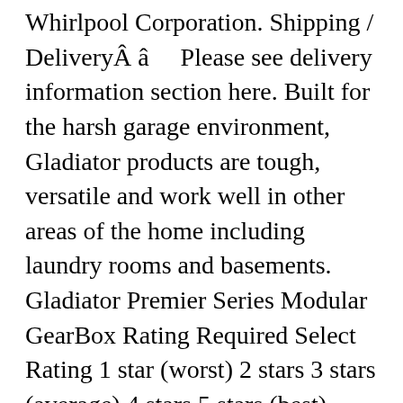Whirlpool Corporation. Shipping / DeliveryÂ â     Please see delivery information section here. Built for the harsh garage environment, Gladiator products are tough, versatile and work well in other areas of the home including laundry rooms and basements. Gladiator Premier Series Modular GearBox Rating Required Select Rating 1 star (worst) 2 stars 3 stars (average) 4 stars 5 stars (best) Name Gladiator GAGD283DYG RTA 3-Drawer Modular Gearbox Gearbox Upkeep Or Substitute is Necessary For Smooth Operating of a Automobile The car gear box is one of the most vital parts of a motor vehicle. Gladiator Premier Series Tall GearBox. Constructed of heavy duty steel, the Modular GearBox is